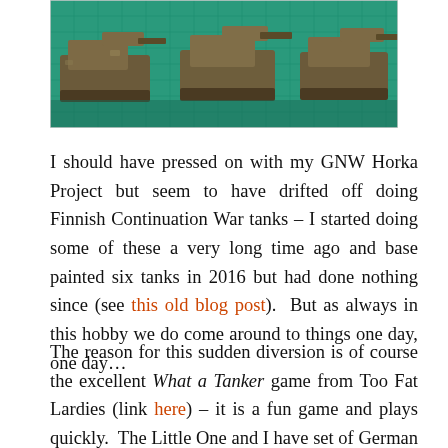[Figure (photo): Photograph of multiple miniature tanks (Finnish Continuation War tanks) on a green cutting mat surface, viewed from behind]
I should have pressed on with my GNW Horka Project but seem to have drifted off doing Finnish Continuation War tanks – I started doing some of these a very long time ago and base painted six tanks in 2016 but had done nothing since (see this old blog post).  But as always in this hobby we do come around to things one day, one day…
The reason for this sudden diversion is of course the excellent What a Tanker game from Too Fat Lardies (link here) – it is a fun game and plays quickly.  The Little One and I have set of German and a few Russian